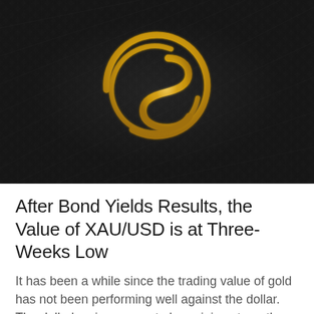[Figure (photo): Close-up photo of a dark textured fabric/leather surface with a gold metallic emblem in the center — a stylized dollar sign inside a partial circle, rendered in shiny gold.]
After Bond Yields Results, the Value of XAU/USD is at Three-Weeks Low
It has been a while since the trading value of gold has not been performing well against the dollar. The dollar's price seems to be gaining strength versus the yellow metal and